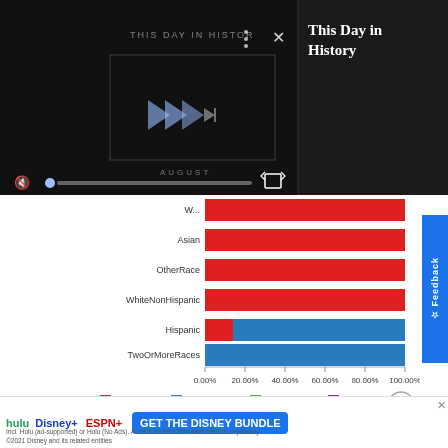[Figure (screenshot): Video player showing 'This Day in History' with muted playback controls, play button overlaid on dark background with 'AUGUST' label]
This Day in History
[Figure (bar-chart): Marital status by race]
Married  Widowed  Divorced  Separated
[Figure (screenshot): Disney Bundle advertisement: Hulu, Disney+, ESPN+ logos with 'GET THE DISNEY BUNDLE' CTA button]